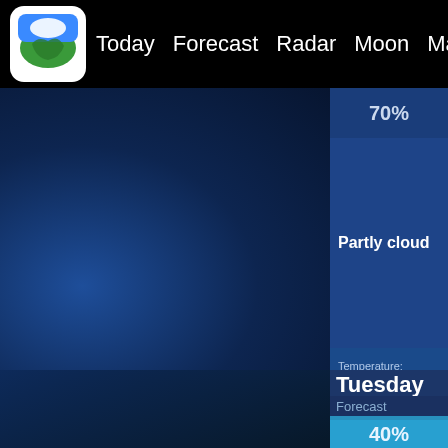Today | Forecast | Radar | Moon | Marine | Statistics
70%
Partly cloud
Temperature:
Chance of Rain:
Wind Speed:
Wind Direction:
Tuesday
Forecast
Chance of rain
40%